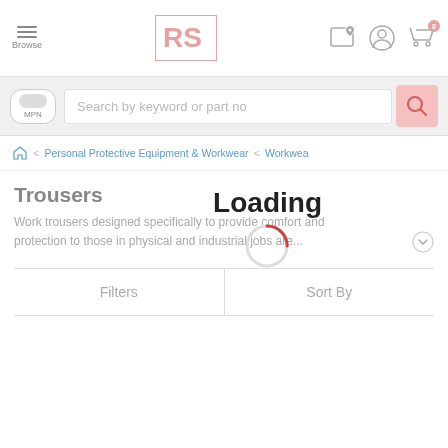[Figure (screenshot): RS Components mobile website header with hamburger menu, RS logo, location pin icon, user account icon, and cart icon with badge showing 0]
[Figure (screenshot): Search bar with MPN toggle and search input placeholder 'Search by keyword or part no' with pink search icon]
Personal Protective Equipment & Workwear > Workwea
Trousers
Loading
Work trousers designed specifically to provide comfort and protection to those in physical and industrial jobs are...
Filters
Sort By